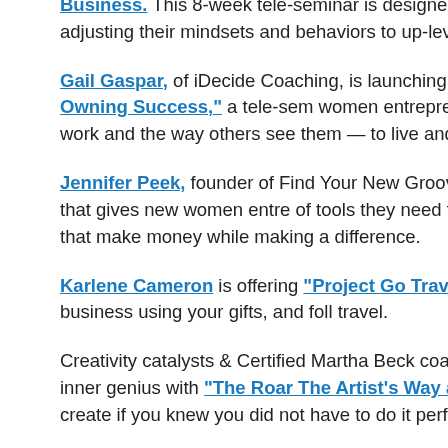Business. This 8-week tele-seminar is designed for empowering women to actively overcome income barriers by adjusting their mindsets and behaviors to up-level their business and life.
Gail Gaspar, of iDecide Coaching, is launching "Superwoman on the Outside, Doubtful on the Inside: Secrets for Owning Success," a tele-seminar for women entrepreneurs, to finally close the gap between the way they see themselves and their work and the way others see them — to live and leave the legacy they deserve.
Jennifer Peek, founder of Find Your New Groove, launched "Brilliant Business Basics," a complimentary tele-seminar that gives new women entrepreneurs a set of tools they need to become Brilliant Business owners by defining and building businesses that make money while making a difference.
Karlene Cameron is offering "Project Go Travel: Create a Freedom Business in 30 Days." Learn how to start a virtual business using your gifts, and follow your passion to travel.
Creativity catalysts & Certified Martha Beck coaches Kelly Pratt and invite you to grow your business & your inner genius with "The Roar... The Artist's Way at Work telecourse." Artists and creative's do it differently — what would you create if you knew you did not have to do it perfectly? Are